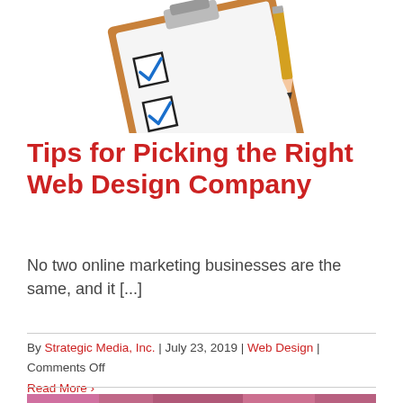[Figure (photo): Checklist clipboard with checkmarks and a pencil on a white background]
Tips for Picking the Right Web Design Company
No two online marketing businesses are the same, and it [...]
By Strategic Media, Inc. | July 23, 2019 | Web Design | Comments Off
Read More >
[Figure (photo): Partial view of a colorful image at the bottom of the page]